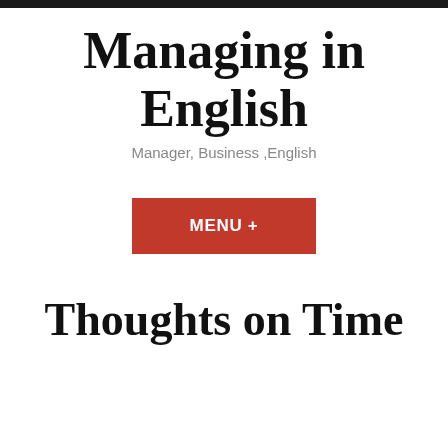Managing in English
Manager, Business ,English
MENU +
Thoughts on Time